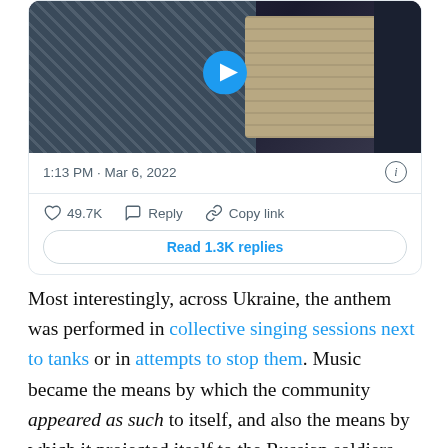[Figure (screenshot): Embedded tweet screenshot showing a video thumbnail with a play button, timestamp '1:13 PM · Mar 6, 2022', an info icon, 49.7K likes, Reply and Copy link actions, and a 'Read 1.3K replies' button.]
Most interestingly, across Ukraine, the anthem was performed in collective singing sessions next to tanks or in attempts to stop them. Music became the means by which the community appeared as such to itself, and also the means by which it projected itself to the Russian soldiers (Stokes 2014, 12). In the region of Melitopol, one of the first to be captured by Russian forces, civilians gathered to protest the occupation, and, using the anthem as their